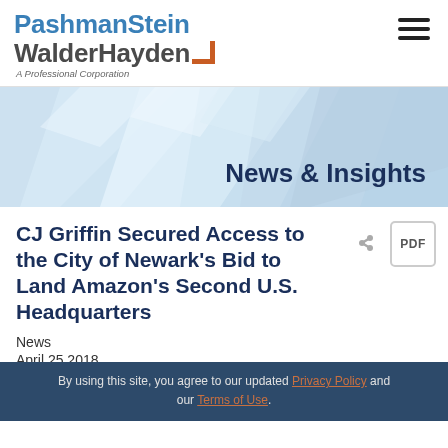[Figure (logo): PashmanStein WalderHayden A Professional Corporation logo with blue and gray text and orange bracket mark]
[Figure (illustration): Blue geometric diamond/polygon abstract banner background with 'News & Insights' text overlay]
CJ Griffin Secured Access to the City of Newark's Bid to Land Amazon's Second U.S. Headquarters
News
April 25 2018
By using this site, you agree to our updated Privacy Policy and our Terms of Use.